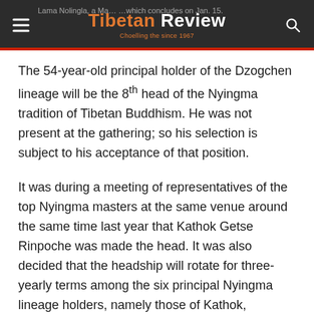Tibetan Review — Choelling the since 1967
The 54-year-old principal holder of the Dzogchen lineage will be the 8th head of the Nyingma tradition of Tibetan Buddhism. He was not present at the gathering; so his selection is subject to his acceptance of that position.
It was during a meeting of representatives of the top Nyingma masters at the same venue around the same time last year that Kathok Getse Rinpoche was made the head. It was also decided that the headship will rotate for three-yearly terms among the six principal Nyingma lineage holders, namely those of Kathok, Dzogchen, Sechen, Mindrolling, Dorje Drak and Palyul monasteries.
Dzogchen Rinpoche, the newly selected head, was born in